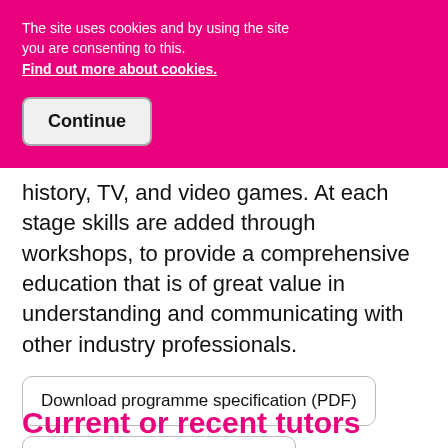The site uses cookies and by using the site you are consenting to this. Find out more about cookies.
Continue
history, TV, and video games. At each stage skills are added through workshops, to provide a comprehensive education that is of great value in understanding and communicating with other industry professionals.
Download programme specification (PDF)
Download course outline (PDF)
Current or recent tutors